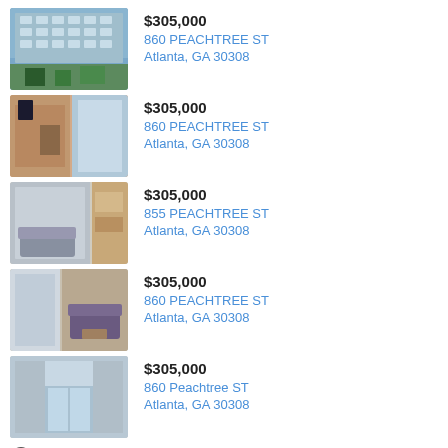$305,000 | 860 PEACHTREE ST, Atlanta, GA 30308
$305,000 | 860 PEACHTREE ST, Atlanta, GA 30308
$305,000 | 855 PEACHTREE ST, Atlanta, GA 30308
$305,000 | 860 PEACHTREE ST, Atlanta, GA 30308
$305,000 | 860 Peachtree ST, Atlanta, GA 30308
Report Listing Issue
Report anything amiss with this listing to Georgia MLS.